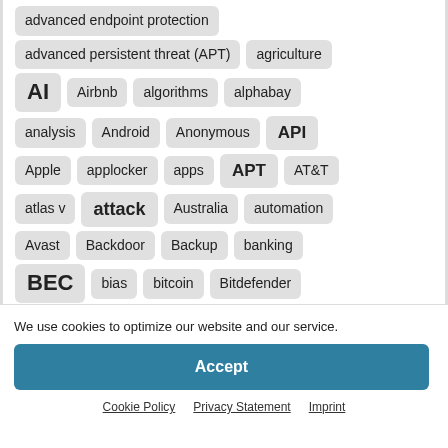advanced endpoint protection
advanced persistent threat (APT)
agriculture
AI
Airbnb
algorithms
alphabay
analysis
Android
Anonymous
API
Apple
applocker
apps
APT
AT&T
atlas v
attack
Australia
automation
Avast
Backdoor
Backup
banking
BEC
bias
bitcoin
Bitdefender
BlackMatter
BloodyStealer malware
booster
We use cookies to optimize our website and our service.
Accept
Cookie Policy  Privacy Statement  Imprint